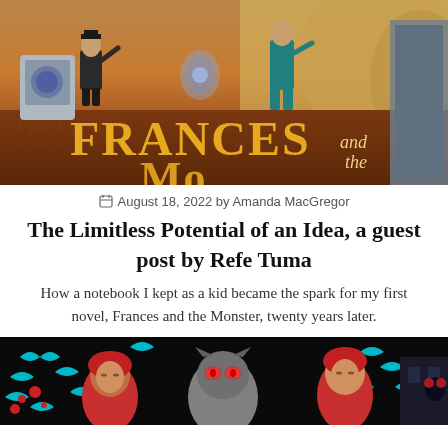[Figure (illustration): Book cover art for Frances and the Monster showing two figures and text 'FRANCES and the' in large golden letters on a warm brown/orange background with hex tile floor]
August 18, 2022 by Amanda MacGregor
The Limitless Potential of an Idea, a guest post by Refe Tuma
How a notebook I kept as a kid became the spark for my first novel, Frances and the Monster, twenty years later.
[Figure (illustration): Book cover or interior art showing a dark background with teal/cyan birds, red-haired figures, and a grey cat with glowing eyes]